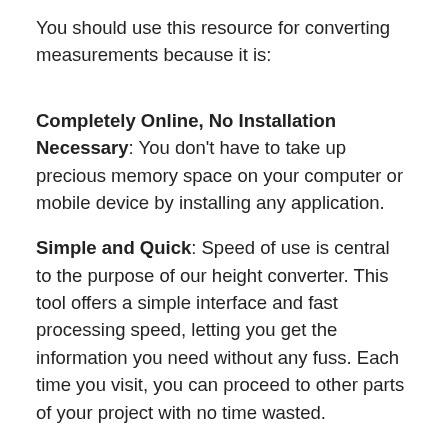You should use this resource for converting measurements because it is:
Completely Online, No Installation Necessary: You don’t have to take up precious memory space on your computer or mobile device by installing any application.
Simple and Quick: Speed of use is central to the purpose of our height converter. This tool offers a simple interface and fast processing speed, letting you get the information you need without any fuss. Each time you visit, you can proceed to other parts of your project with no time wasted.
See more: What Is The Prime Factorization Of 231, What Is The Prime Factorization Of The Number 231